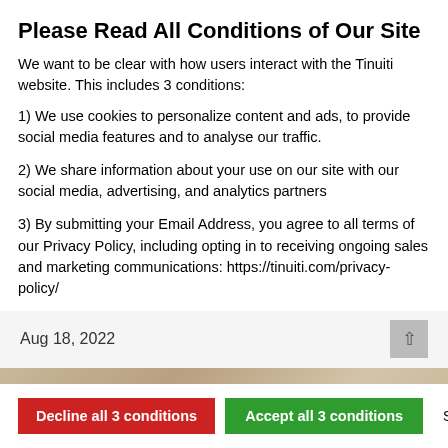Please Read All Conditions of Our Site
We want to be clear with how users interact with the Tinuiti website. This includes 3 conditions:
1) We use cookies to personalize content and ads, to provide social media features and to analyse our traffic.
2) We share information about your use on our site with our social media, advertising, and analytics partners
3) By submitting your Email Address, you agree to all terms of our Privacy Policy, including opting in to receiving ongoing sales and marketing communications: https://tinuiti.com/privacy-policy/
Decline all 3 conditions | Accept all 3 conditions | Show details
Aug 18, 2022
[Figure (photo): Amazon Prime delivery box with 'free delivery' label, photo behind a cookie consent modal overlay]